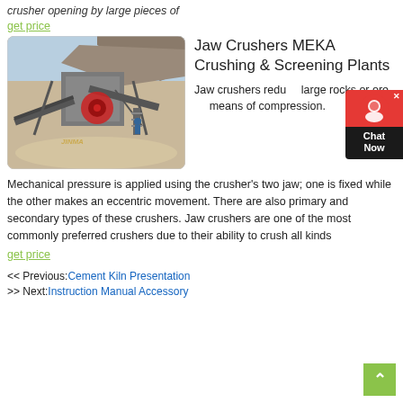crusher opening by large pieces of
get price
[Figure (photo): Outdoor photograph of a jaw crusher and conveyor belt assembly at a mining or quarrying site, with rocky terrain in the background.]
Jaw Crushers MEKA Crushing & Screening Plants
Jaw crushers reduce large rocks or ore means of compression.
Mechanical pressure is applied using the crusher's two jaw; one is fixed while the other makes an eccentric movement. There are also primary and secondary types of these crushers. Jaw crushers are one of the most commonly preferred crushers due to their ability to crush all kinds
get price
<< Previous: Cement Kiln Presentation
>> Next: Instruction Manual Accessory